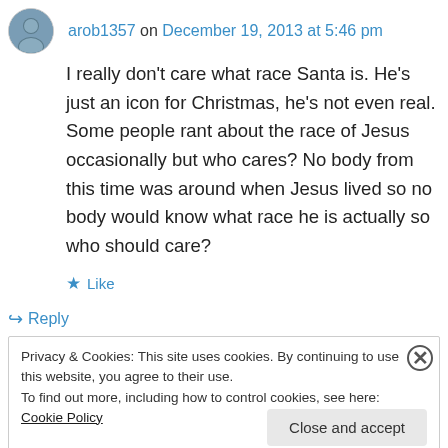arob1357 on December 19, 2013 at 5:46 pm
I really don't care what race Santa is. He's just an icon for Christmas, he's not even real. Some people rant about the race of Jesus occasionally but who cares? No body from this time was around when Jesus lived so no body would know what race he is actually so who should care?
★ Like
↳ Reply
Privacy & Cookies: This site uses cookies. By continuing to use this website, you agree to their use.
To find out more, including how to control cookies, see here: Cookie Policy
Close and accept